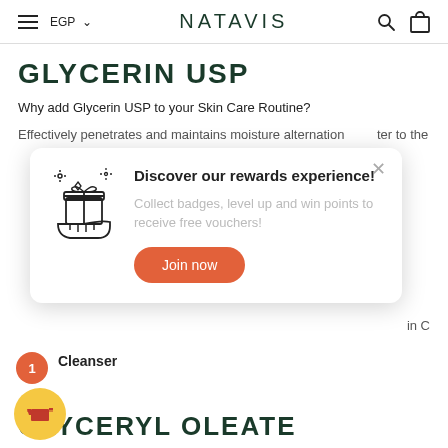NATAVIS — EGP navigation header with search and cart icons
GLYCERIN USP
Why add Glycerin USP to your Skin Care Routine?
Effectively penetrates and maintains moisture... ter to the
[Figure (screenshot): Rewards popup modal: icon of a hand holding gift box with sparkles, heading 'Discover our rewards experience!', description 'Collect badges, level up and win points to receive free vouchers!', orange 'Join now' button, close X button]
...in C
Cleanser
GLYCERYL OLEATE